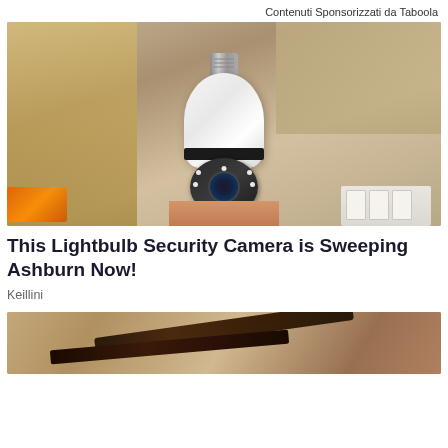Contenuti Sponsorizzati da Taboola
[Figure (photo): Hand holding a white lightbulb-shaped security camera with a black camera dome, lens, and LED lights, against a background of cardboard boxes and tools]
This Lightbulb Security Camera is Sweeping Ashburn Now!
Keillini
[Figure (photo): Partial image of what appears to be straps or belts on a stone/concrete surface]